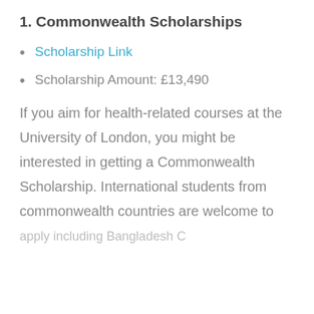1. Commonwealth Scholarships
Scholarship Link
Scholarship Amount: £13,490
If you aim for health-related courses at the University of London, you might be interested in getting a Commonwealth Scholarship. International students from commonwealth countries are welcome to apply, including Bangladesh, C...